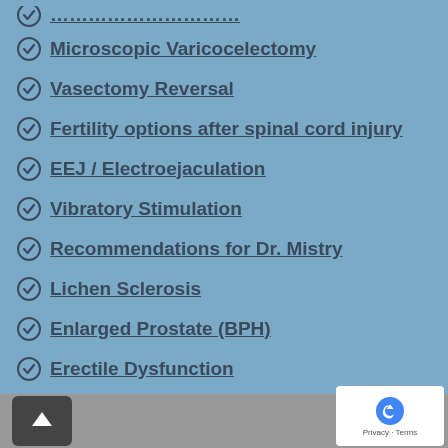Microscopic Varicocelectomy
Vasectomy Reversal
Fertility options after spinal cord injury
EEJ / Electroejaculation
Vibratory Stimulation
Recommendations for Dr. Mistry
Lichen Sclerosis
Enlarged Prostate (BPH)
Erectile Dysfunction
Low Testosterone
Peyronie's Disease